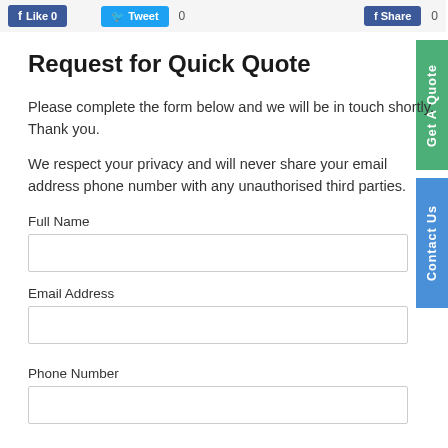[Figure (screenshot): Social sharing buttons: Like (Facebook, blue), Tweet (Twitter, blue) with count 0, Share (Facebook, blue) with count 0]
Request for Quick Quote
Please complete the form below and we will be in touch shortly. Thank you.
We respect your privacy and will never share your email address phone number with any unauthorised third parties.
Full Name
Email Address
Phone Number